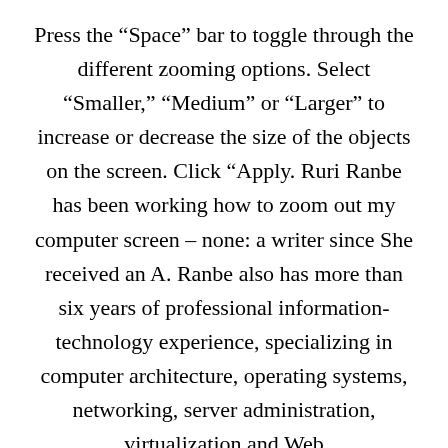Press the “Space” bar to toggle through the different zooming options. Select “Smaller,” “Medium” or “Larger” to increase or decrease the size of the objects on the screen. Click “Apply. Ruri Ranbe has been working how to zoom out my computer screen – none: a writer since She received an A. Ranbe also has more than six years of professional information-technology experience, specializing in computer architecture, operating systems, networking, server administration, virtualization and Web